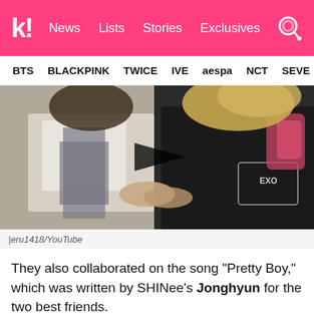Koreaboo | News | Lists | Stories | Exclusives
BTS | BLACKPINK | TWICE | IVE | aespa | NCT | SEVE
[Figure (screenshot): Video thumbnail showing two people, one wearing an EXO shirt, with a play button overlay]
| eru1418/YouTube
They also collaborated on the song "Pretty Boy," which was written by SHINee's Jonghyun for the two best friends.
[Figure (screenshot): M Countdown TV show screenshot with Mnet logo]